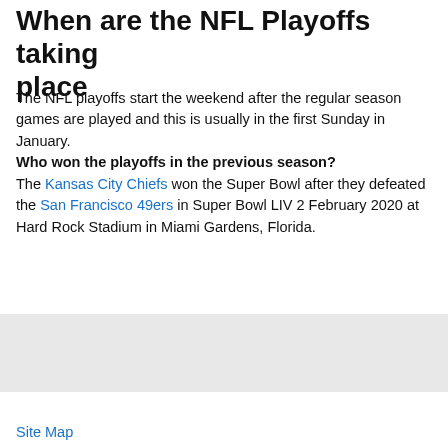When are the NFL Playoffs taking place
The NFL playoffs start the weekend after the regular season games are played and this is usually in the first Sunday in January.
Who won the playoffs in the previous season?
The Kansas City Chiefs won the Super Bowl after they defeated the San Francisco 49ers in Super Bowl LIV 2 February 2020 at Hard Rock Stadium in Miami Gardens, Florida.
Site Map